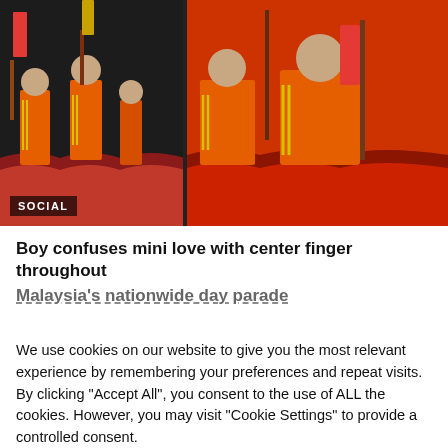[Figure (photo): Two-panel photo showing children in orange uniforms/costumes holding decorated poles or flags, appearing to be at a parade or cultural event. Left panel shows multiple children from a distance; right panel shows a closer view of a child in orange with yellow stripes. A 'SOCIAL' badge appears in the lower-left corner of the image.]
Boy confuses mini love with center finger throughout Malaysia's nationwide day parade
We use cookies on our website to give you the most relevant experience by remembering your preferences and repeat visits. By clicking "Accept All", you consent to the use of ALL the cookies. However, you may visit "Cookie Settings" to provide a controlled consent.